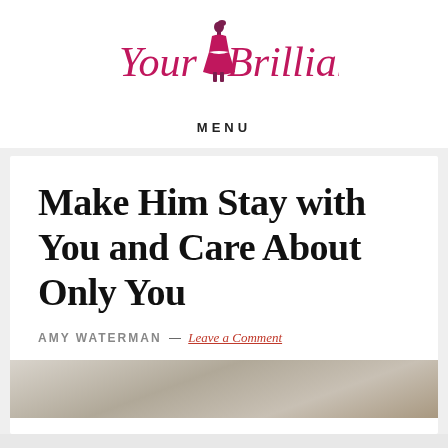[Figure (logo): Your Brilliance logo with a pink script font and a stylized silhouette of a woman in a dress]
MENU
Make Him Stay with You and Care About Only You
AMY WATERMAN — Leave a Comment
[Figure (photo): Partial photo of a couple, blurred/light background]